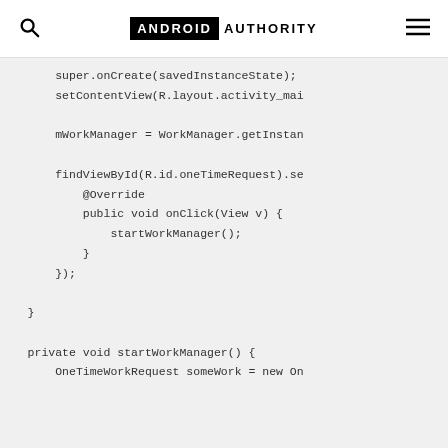ANDROID AUTHORITY
super.onCreate(savedInstanceState);
        setContentView(R.layout.activity_mai

        mWorkManager = WorkManager.getInstan

        findViewById(R.id.oneTimeRequest).se
            @Override
            public void onClick(View v) {
                startWorkManager();
            }
        });

    }

    private void startWorkManager() {
        OneTimeWorkRequest someWork = new On